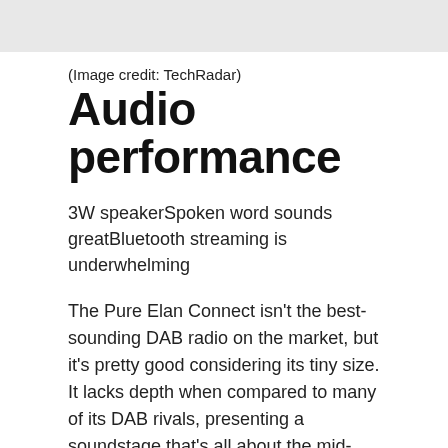[Figure (photo): Gray image placeholder at top of page]
(Image credit: TechRadar)
Audio performance
3W speakerSpoken word sounds greatBluetooth streaming is underwhelming
The Pure Elan Connect isn't the best-sounding DAB radio on the market, but it's pretty good considering its tiny size. It lacks depth when compared to many of its DAB rivals, presenting a soundstage that's all about the mid-range. However, for voice-based content it's absolutely fine, with spoken word radio plenty clear enough. Music, too, is acceptable – as long as it's